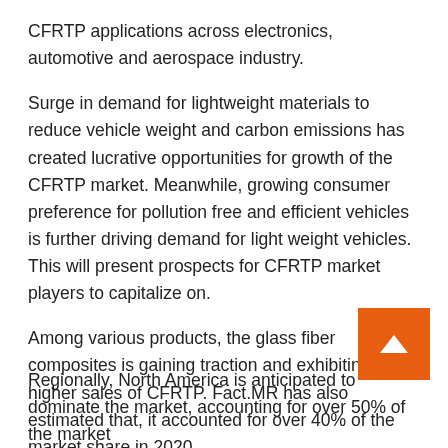CFRTP applications across electronics, automotive and aerospace industry.
Surge in demand for lightweight materials to reduce vehicle weight and carbon emissions has created lucrative opportunities for growth of the CFRTP market. Meanwhile, growing consumer preference for pollution free and efficient vehicles is further driving demand for light weight vehicles. This will present prospects for CFRTP market players to capitalize on.
Among various products, the glass fiber composites is gaining traction and exhibiting a higher sales of CFRTP. Fact.MR has also estimated that, it accounted for over 40% of the market share in 2020.
Regionally, North America is anticipated to dominate the market, accounting for over 50% of the market